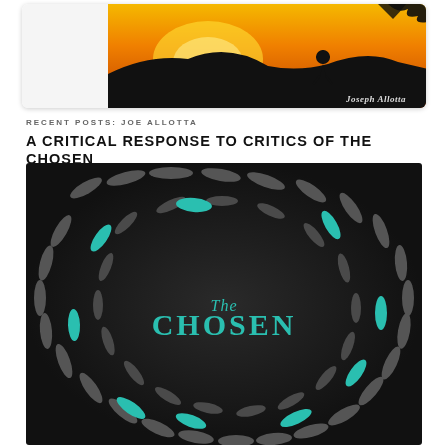[Figure (photo): Top portion of a book cover card showing a silhouette of a person against a golden sunset sky, with 'Joseph Allotta' text visible at bottom right]
RECENT POSTS: JOE ALLOTTA
A CRITICAL RESPONSE TO CRITICS OF THE CHOSEN
[Figure (illustration): Book cover for 'The Chosen' showing swirling fish pattern in teal and gray on dark background with title text 'The CHOSEN' in teal]